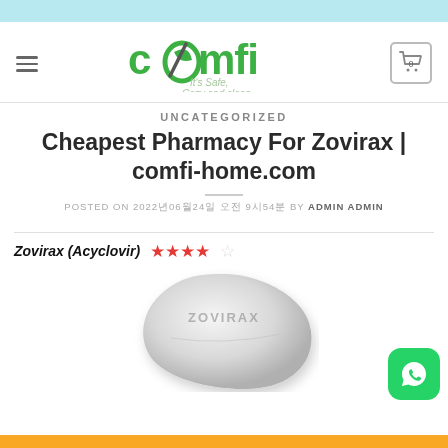[Figure (screenshot): Light blue top bar banner]
[Figure (logo): Comfi logo with green text and tagline 'It's Safe, Cozy and clean', with hamburger menu and cart icon]
UNCATEGORIZED
Cheapest Pharmacy For Zovirax | comfi-home.com
POSTED ON 2022년06월24일 오전 9시54분 BY ADMIN ADMIN
Zovirax (Acyclovir) ★★★★☆
[Figure (photo): White/grey Zovirax pill tablet with ZOVIRAX embossed text]
[Figure (logo): WhatsApp green button icon in bottom right corner]